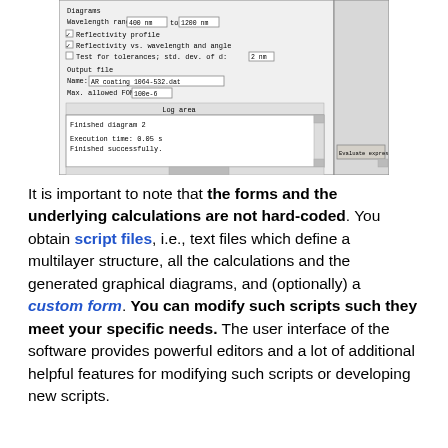[Figure (screenshot): Screenshot of a software dialog/form showing options for Diagrams with Wavelength range (400 nm to 1200 nm), checkboxes for Reflectivity profile and Reflectivity vs. wavelength and angle, Test for tolerances with std. dev. of d: 2 nm, Output file section with Name: AR coating 1064-532.dat and Max. allowed FOM: 100e-6, a Log area showing 'Finished diagram 2' and 'Execution time: 0.05 s / Finished successfully.' with an Evaluate expression button.]
It is important to note that the forms and the underlying calculations are not hard-coded. You obtain script files, i.e., text files which define a multilayer structure, all the calculations and the generated graphical diagrams, and (optionally) a custom form. You can modify such scripts such they meet your specific needs. The user interface of the software provides powerful editors and a lot of additional helpful features for modifying such scripts or developing new scripts.